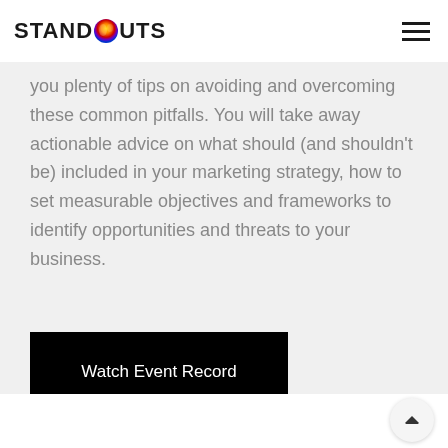STANDOUTS
you plenty of tips on avoiding and overcoming these common pitfalls. You will take away actionable advice on what should (and shouldn't be) included in your marketing strategy, how to set measurable objectives and frameworks to identify opportunities and threats to your business.
[Figure (other): Black button with white text reading 'Watch Event Record']